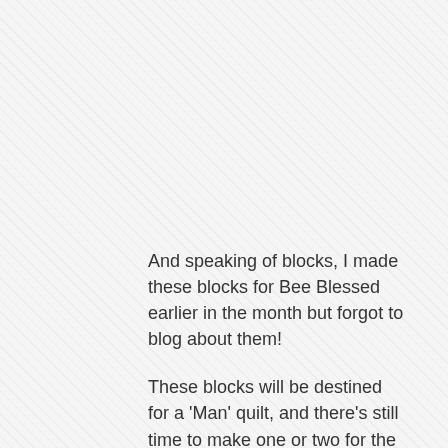And speaking of blocks, I made these blocks for Bee Blessed earlier in the month but forgot to blog about them!
These blocks will be destined for a 'Man' quilt, and there's still time to make one or two for the lovely ladies at Bee Blessed.  You can get the tutorial here.
And the final bit of December sewing to show you was a box of treats I sent over to the 'Fab Five' in my daughter's uni flat!